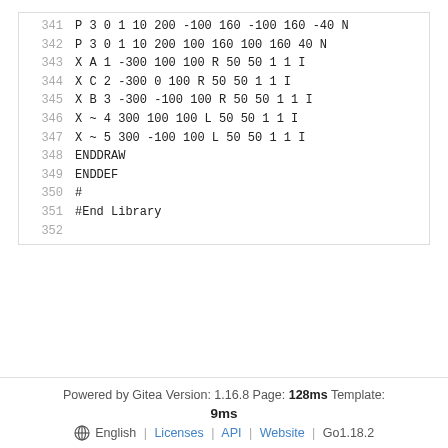341  P 3 0 1 10 200 -100 160 -100 160 -40 N
342  P 3 0 1 10 200 100 160 100 160 40 N
343  X A 1 -300 100 100 R 50 50 1 1 I
344  X C 2 -300 0 100 R 50 50 1 1 I
345  X B 3 -300 -100 100 R 50 50 1 1 I
346  X ~ 4 300 100 100 L 50 50 1 1 I
347  X ~ 5 300 -100 100 L 50 50 1 1 I
348  ENDDRAW
349  ENDDEF
350  #
351  #End Library
352
Powered by Gitea Version: 1.16.8 Page: 128ms Template: 9ms | English | Licenses | API | Website | Go1.18.2